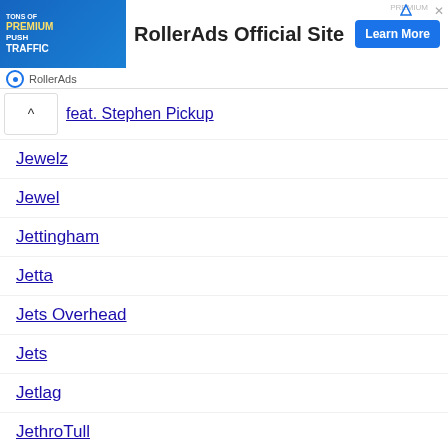[Figure (screenshot): RollerAds advertisement banner with image of woman, text 'RollerAds Official Site' and 'Learn More' button]
feat. Stephen Pickup
Jewelz
Jewel
Jettingham
Jetta
Jets Overhead
Jets
Jetlag
JethroTull